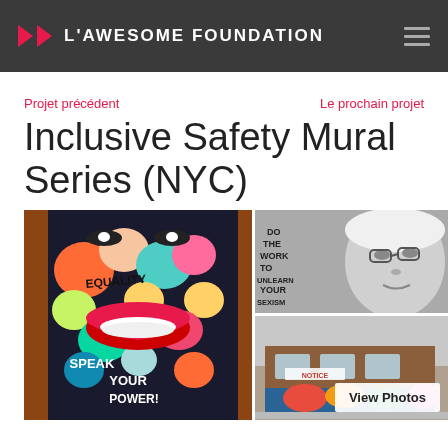L'AWESOME FOUNDATION
Projet précédent
Le prochain projet
Inclusive Safety Mural Series (NYC)
[Figure (photo): Collage of three mural photos: left shows a colorful mural with text 'SPEAK YOUR POWER' and 'EQUALITY'; top right shows a black-and-white mural of a woman's face with text 'DO THE WORK TO UNLEARN YOUR SEXISM'; bottom right shows a street-level mural on a building facade with a 'View Photos' button overlay.]